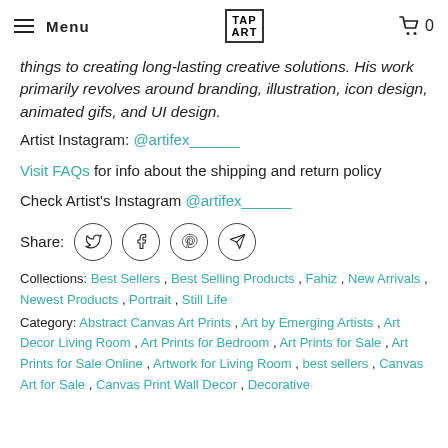Menu | TAP ART | 0
things to creating long-lasting creative solutions. His work primarily revolves around branding, illustration, icon design, animated gifs, and UI design.
Artist Instagram: @artifex______
Visit FAQs for info about the shipping and return policy
Check Artist's Instagram @artifex______
[Figure (other): Share buttons: Twitter, Facebook, Pinterest, Telegram]
Collections: Best Sellers , Best Selling Products , Fahiz , New Arrivals , Newest Products , Portrait , Still Life
Category: Abstract Canvas Art Prints , Art by Emerging Artists , Art Decor Living Room , Art Prints for Bedroom , Art Prints for Sale , Art Prints for Sale Online , Artwork for Living Room , best sellers , Canvas Art for Sale , Canvas Print Wall Decor , Decorative